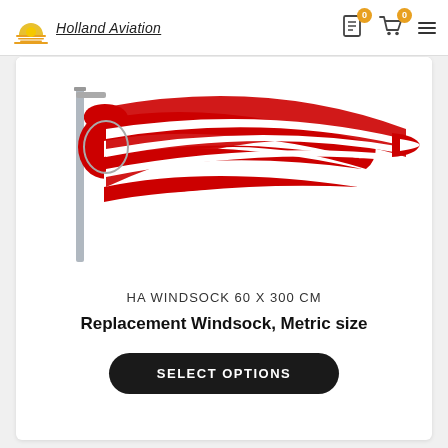Holland Aviation
[Figure (photo): Red and white striped windsock on a metal pole, photographed against a white background. The windsock extends to the right, showing alternating red and white bands.]
HA WINDSOCK 60 X 300 CM
Replacement Windsock, Metric size
SELECT OPTIONS